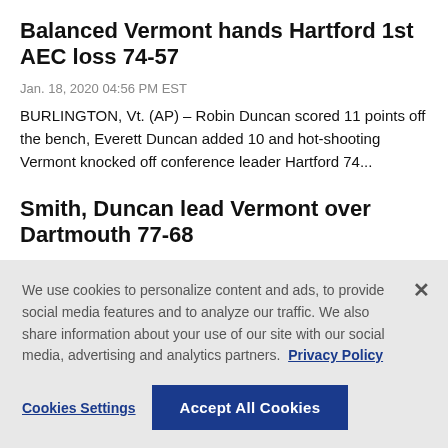Balanced Vermont hands Hartford 1st AEC loss 74-57
Jan. 18, 2020 04:56 PM EST
BURLINGTON, Vt. (AP) – Robin Duncan scored 11 points off the bench, Everett Duncan added 10 and hot-shooting Vermont knocked off conference leader Hartford 74...
Smith, Duncan lead Vermont over Dartmouth 77-68
Jan. 02, 2020 10:25 PM EST
HANOVER, N.H. (AP) – Stef Smith scored 24 points, Robin
We use cookies to personalize content and ads, to provide social media features and to analyze our traffic. We also share information about your use of our site with our social media, advertising and analytics partners. Privacy Policy
Cookies Settings
Accept All Cookies